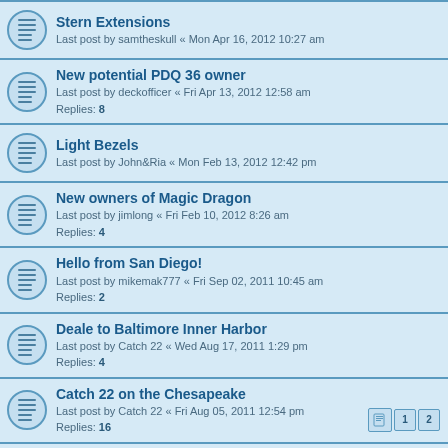Stern Extensions
Last post by samtheskull « Mon Apr 16, 2012 10:27 am
New potential PDQ 36 owner
Last post by deckofficer « Fri Apr 13, 2012 12:58 am
Replies: 8
Light Bezels
Last post by John&Ria « Mon Feb 13, 2012 12:42 pm
New owners of Magic Dragon
Last post by jimlong « Fri Feb 10, 2012 8:26 am
Replies: 4
Hello from San Diego!
Last post by mikemak777 « Fri Sep 02, 2011 10:45 am
Replies: 2
Deale to Baltimore Inner Harbor
Last post by Catch 22 « Wed Aug 17, 2011 1:29 pm
Replies: 4
Catch 22 on the Chesapeake
Last post by Catch 22 « Fri Aug 05, 2011 12:54 pm
Replies: 16
[Pages: 1 2]
New Owner of a 1999 PDQ 32 LRC
Last post by dfaith « Tue Mar 08, 2011 9:05 pm
Replies: 5
Anybody home?
Last post by eepstein « Sat Feb 12, 2011 2:24 pm
Replies: 7